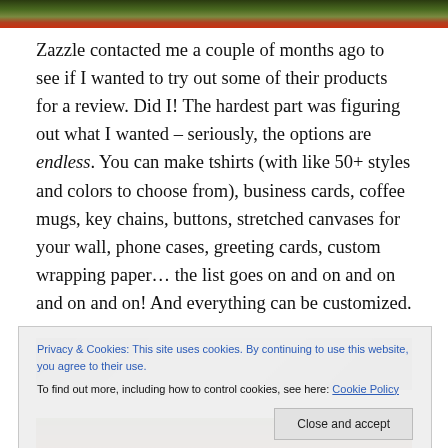[Figure (photo): Top portion of an outdoor photo, showing greenery and red clothing.]
Zazzle contacted me a couple of months ago to see if I wanted to try out some of their products for a review. Did I! The hardest part was figuring out what I wanted – seriously, the options are endless. You can make tshirts (with like 50+ styles and colors to choose from), business cards, coffee mugs, key chains, buttons, stretched canvases for your wall, phone cases, greeting cards, custom wrapping paper… the list goes on and on and on and on and on! And everything can be customized.
[Figure (photo): Middle portion of an outdoor photo, partially obscured by cookie banner.]
Privacy & Cookies: This site uses cookies. By continuing to use this website, you agree to their use.
To find out more, including how to control cookies, see here: Cookie Policy
[Figure (photo): Bottom portion of an outdoor photo showing greenery.]